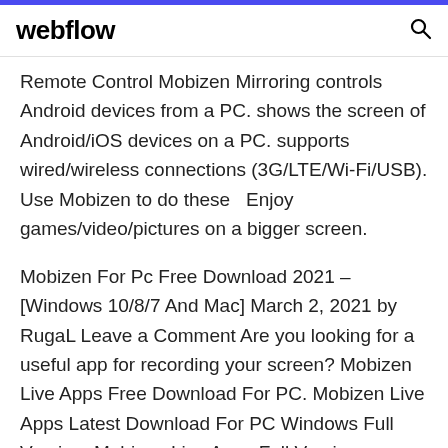webflow
Remote Control Mobizen Mirroring controls Android devices from a PC. shows the screen of Android/iOS devices on a PC. supports wired/wireless connections (3G/LTE/Wi-Fi/USB). Use Mobizen to do these   Enjoy games/video/pictures on a bigger screen.
Mobizen For Pc Free Download 2021 – [Windows 10/8/7 And Mac] March 2, 2021 by RugaL Leave a Comment Are you looking for a useful app for recording your screen? Mobizen Live Apps Free Download For PC. Mobizen Live Apps Latest Download For PC Windows Full Version. Mobizen Live Apps Full Version Download for PC. Download Mobizen Live Apps Latest Version